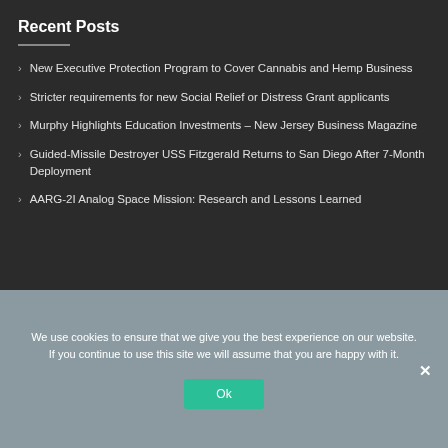Recent Posts
New Executive Protection Program to Cover Cannabis and Hemp Business
Stricter requirements for new Social Relief or Distress Grant applicants
Murphy Highlights Education Investments – New Jersey Business Magazine
Guided-Missile Destroyer USS Fitzgerald Returns to San Diego After 7-Month Deployment
AARG-2I Analog Space Mission: Research and Lessons Learned
We use cookies to ensure that we give you the best experience on our website. If you continue to use this site we will assume that you are happy with it.